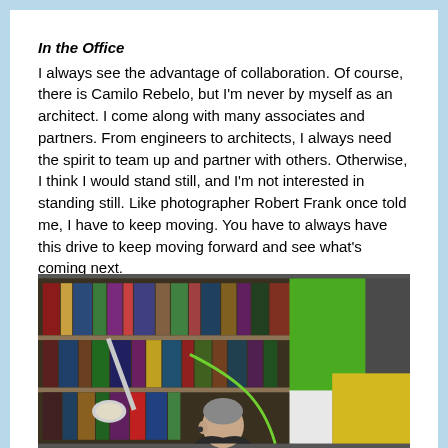In the Office
I always see the advantage of collaboration. Of course, there is Camilo Rebelo, but I'm never by myself as an architect. I come along with many associates and partners. From engineers to architects, I always need the spirit to team up and partner with others. Otherwise, I think I would stand still, and I'm not interested in standing still. Like photographer Robert Frank once told me, I have to keep moving. You have to always have this drive to keep moving forward and see what's coming next.
[Figure (photo): A person sitting in front of a bookshelf filled with books, with green and yellow panels visible in the background and a lamp to the left.]